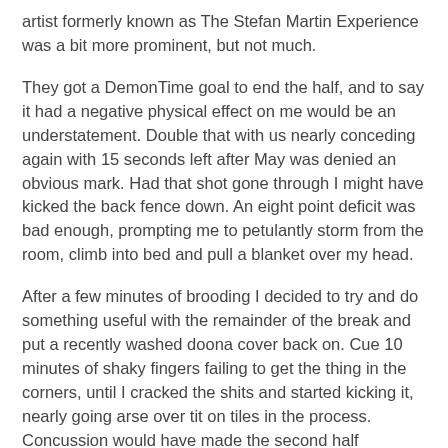artist formerly known as The Stefan Martin Experience was a bit more prominent, but not much.
They got a DemonTime goal to end the half, and to say it had a negative physical effect on me would be an understatement. Double that with us nearly conceding again with 15 seconds left after May was denied an obvious mark. Had that shot gone through I might have kicked the back fence down. An eight point deficit was bad enough, prompting me to petulantly storm from the room, climb into bed and pull a blanket over my head.
After a few minutes of brooding I decided to try and do something useful with the remainder of the break and put a recently washed doona cover back on. Cue 10 minutes of shaky fingers failing to get the thing in the corners, until I cracked the shits and started kicking it, nearly going arse over tit on tiles in the process. Concussion would have made the second half interesting. As I bent down to pick it up and violently chuck it out the room, there was a strange feeling in my nose, and I realised it was filling with blood. I've never had a random nosebleed in my life, and in conjunction with a throbbing in left...